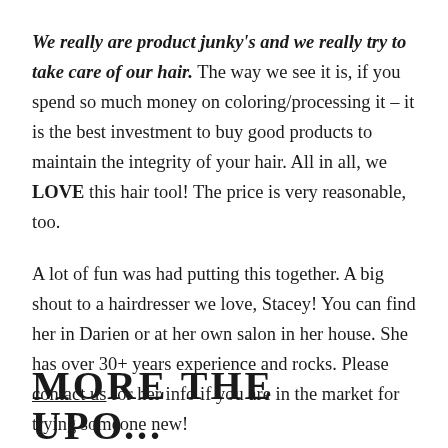We really are product junky's and we really try to take care of our hair. The way we see it is, if you spend so much money on coloring/processing it – it is the best investment to buy good products to maintain the integrity of your hair. All in all, we LOVE this hair tool! The price is very reasonable, too.
A lot of fun was had putting this together. A big shout to a hairdresser we love, Stacey! You can find her in Darien or at her own salon in her house. She has over 30+ years experience and rocks. Please contact us for her info if you are in the market for trying someone new!
MORE THE UPO...